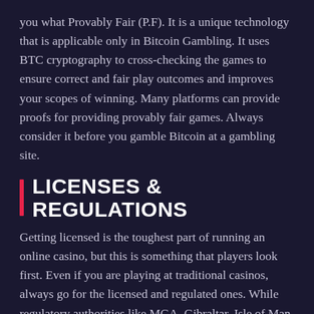you what Provably Fair (P.F). It is a unique technology that is applicable only in Bitcoin Gambling. It uses BTC cryptography to cross-checking the games to ensure correct and fair play outcomes and improves your scopes of winning. Many platforms can provide proofs for providing provably fair games. Always consider it before you gamble Bitcoin at a gambling site.
LICENSES & REGULATIONS
Getting licensed is the toughest part of running an online casino, but this is something that players look first. Even if you are playing at traditional casinos, always go for the licensed and regulated ones. While regulatory authorities like MGA, Gibraltar, Isle of Man haven't acknowledged BTC as a currency, but Government of Curacao, United Kingdom Gambling